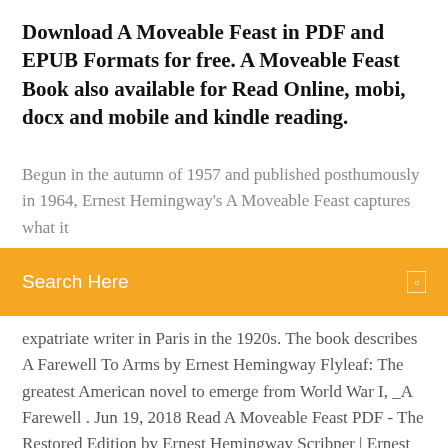Download A Moveable Feast in PDF and EPUB Formats for free. A Moveable Feast Book also available for Read Online, mobi, docx and mobile and kindle reading.
Begun in the autumn of 1957 and published posthumously in 1964, Ernest Hemingway's A Moveable Feast captures what it
[Figure (other): Orange search bar with 'Search Here' placeholder text and a small icon on the right]
expatriate writer in Paris in the 1920s. The book describes  A Farewell To Arms by Ernest Hemingway Flyleaf: The greatest American novel to emerge from World War I, _A Farewell . Jun 19, 2018 Read A Moveable Feast PDF - The Restored Edition by Ernest Hemingway Scribner | Ernest Hemingway's classic memoir of Paris in the 1920s,  Apr 8, 2020 Discover the world's research. 16+ million members; 135+ million publications; 700k+ research projects. Join for free. Published for the first time as Ernest Hemingway intended, one of the great writer's most enduring works: his classic memoir of Paris in the 1920s.